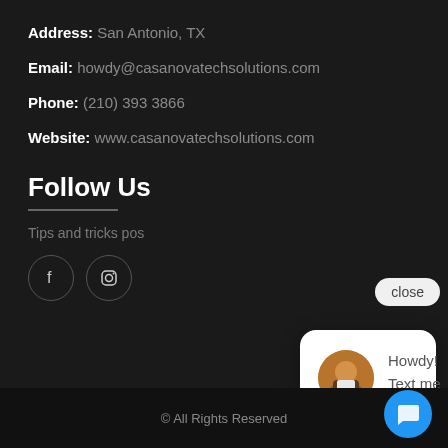Address: San Antonio, TX
Email: howdy@casanovatechsolutions.com
Phone: (210) 393 3866
Website: www.casanovatechsolutions.com
Follow Us
Tips and tricks pos
[Figure (screenshot): Chat popup with close button, avatar photo of man in suit, and message text: Howdy! Text me here with any questions you have regarding websites or lead generation!]
© All Rights Reserved